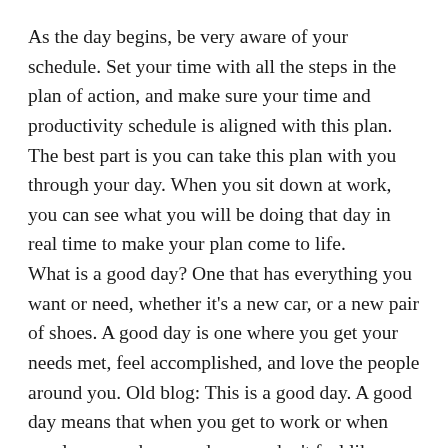As the day begins, be very aware of your schedule. Set your time with all the steps in the plan of action, and make sure your time and productivity schedule is aligned with this plan. The best part is you can take this plan with you through your day. When you sit down at work, you can see what you will be doing that day in real time to make your plan come to life.
What is a good day? One that has everything you want or need, whether it's a new car, or a new pair of shoes. A good day is one where you get your needs met, feel accomplished, and love the people around you. Old blog: This is a good day. A good day means that when you get to work or when you leave work every day, you don't feel like yourself anymore.
Every day when you leave work, do not feel exhausted. Instead, feel like you are going to play all day, that you are the very definition of busy, that today is not just about you, but about the people around you. The same goes for your